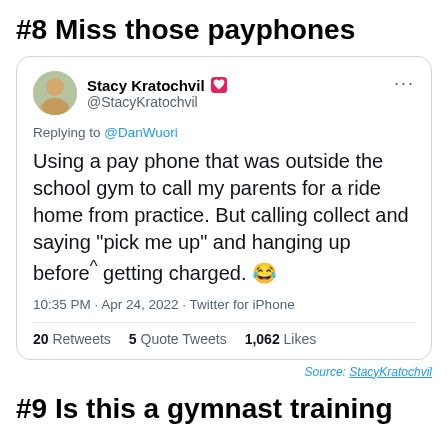#8 Miss those payphones
[Figure (screenshot): Tweet by Stacy Kratochvil (@StacyKratochvil) replying to @DanWuori: 'Using a pay phone that was outside the school gym to call my parents for a ride home from practice. But calling collect and saying "pick me up" and hanging up before getting charged. 😂' Posted 10:35 PM · Apr 24, 2022 · Twitter for iPhone. 20 Retweets 5 Quote Tweets 1,062 Likes]
Source: StacyKratochvil
#9 Is this a gymnast training